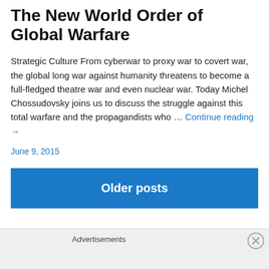The New World Order of Global Warfare
Strategic Culture From cyberwar to proxy war to covert war, the global long war against humanity threatens to become a full-fledged theatre war and even nuclear war. Today Michel Chossudovsky joins us to discuss the struggle against this total warfare and the propagandists who … Continue reading →
June 9, 2015
Older posts
Advertisements